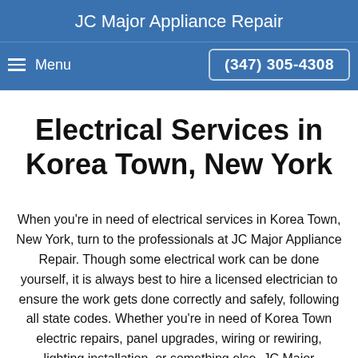JC Major Appliance Repair
Menu  (347) 305-4308
Electrical Services in Korea Town, New York
When you're in need of electrical services in Korea Town, New York, turn to the professionals at JC Major Appliance Repair. Though some electrical work can be done yourself, it is always best to hire a licensed electrician to ensure the work gets done correctly and safely, following all state codes. Whether you're in need of Korea Town electric repairs, panel upgrades, wiring or rewiring, lighting installation, or something else, JC Major Appliance Repair